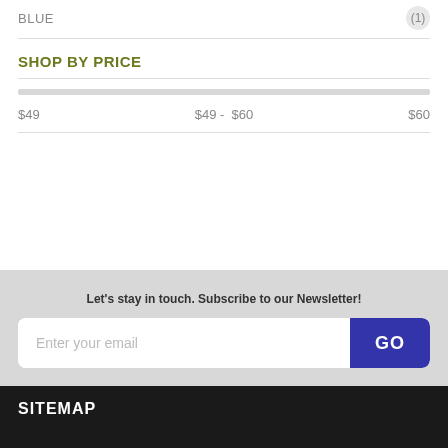BLUE (1)
SHOP BY PRICE
$49   $49 -  $60   $60
Let's stay in touch. Subscribe to our Newsletter!
Enter your email  GO
SITEMAP